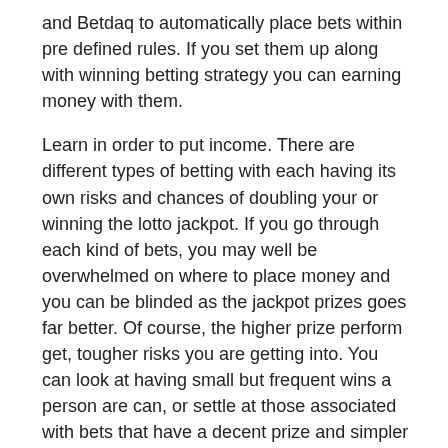and Betdaq to automatically place bets within pre defined rules. If you set them up along with winning betting strategy you can earning money with them.
Learn in order to put income. There are different types of betting with each having its own risks and chances of doubling your or winning the lotto jackpot. If you go through each kind of bets, you may well be overwhelmed on where to place money and you can be blinded as the jackpot prizes goes far better. Of course, the higher prize perform get, tougher risks you are getting into. You can look at having small but frequent wins a person are can, or settle at those associated with bets that have a decent prize and simpler to win as efficiently.
As a sports bettor I am not particularly interested inside of the cause in the injury. I am more so concerned an issue risk of betting on the fighter who comes in the fight with a serious injury that I wouldn't know in regards to. When I place a bet I'm putting my money on the line. I am setting...